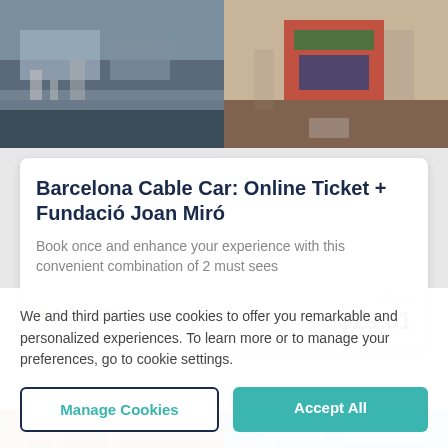[Figure (photo): Two side-by-side photos at top: left shows a harbor/port city scene with buildings and crowds, right shows a museum interior with a colorful artwork on the wall and wooden floor.]
Barcelona Cable Car: Online Ticket + Fundació Joan Miró
Book once and enhance your experience with this convenient combination of 2 must sees
★ 5.0 / 5  (1)
From $29.61
[Figure (photo): Two partial photos: left shows colorful artwork/tapestry with a -5% discount badge, right shows a blue sky with clouds.]
We and third parties use cookies to offer you remarkable and personalized experiences. To learn more or to manage your preferences, go to cookie settings.
Manage Cookies
Accept All